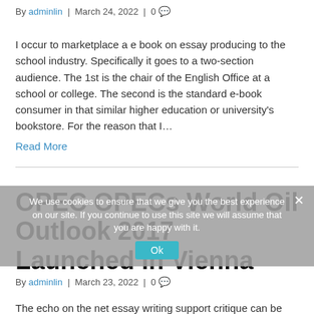By adminlin | March 24, 2022 | 0 💬
I occur to marketplace a e book on essay producing to the school industry. Specifically it goes to a two-section audience. The 1st is the chair of the English Office at a school or college. The second is the standard e-book consumer in that similar higher education or university's bookstore. For the reason that I…
Read More
OPEC OPECs World Oil Outlook 2017 Launched in Vienna
By adminlin | March 23, 2022 | 0 💬
The echo on the net essay writing support critique can be
We use cookies to ensure that we give you the best experience on our site. If you continue to use this site we will assume that you are happy with it.  Ok  ×